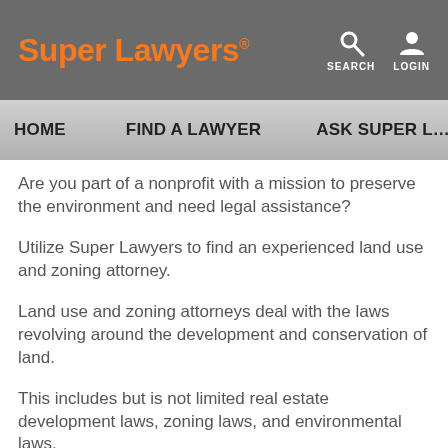Super Lawyers® | SEARCH | LOGIN
HOME | FIND A LAWYER | ASK SUPER L…
Are you part of a nonprofit with a mission to preserve the environment and need legal assistance?
Utilize Super Lawyers to find an experienced land use and zoning attorney.
Land use and zoning attorneys deal with the laws revolving around the development and conservation of land.
This includes but is not limited real estate development laws, zoning laws, and environmental laws.
Often land use and zoning lawyers work with planning commissions, municipalities, and city councils.